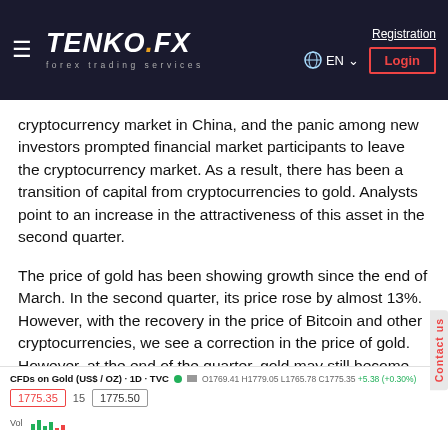TENKO FX — forex trading services | EN | Registration | Login
cryptocurrency market in China, and the panic among new investors prompted financial market participants to leave the cryptocurrency market. As a result, there has been a transition of capital from cryptocurrencies to gold. Analysts point to an increase in the attractiveness of this asset in the second quarter.
The price of gold has been showing growth since the end of March. In the second quarter, its price rose by almost 13%. However, with the recovery in the price of Bitcoin and other cryptocurrencies, we see a correction in the price of gold. However, at the end of the quarter, gold may still become more profitable than Bitcoin.
[Figure (screenshot): Partial TradingView chart screenshot showing CFDs on Gold (US$ / OZ) · 1D · TVC with OHLC data O1769.41 H1779.05 L1765.78 C1775.35 +5.38 (+0.30%). Price tags showing 1775.35 and 1775.50. Vol label visible with partial candlestick bars.]